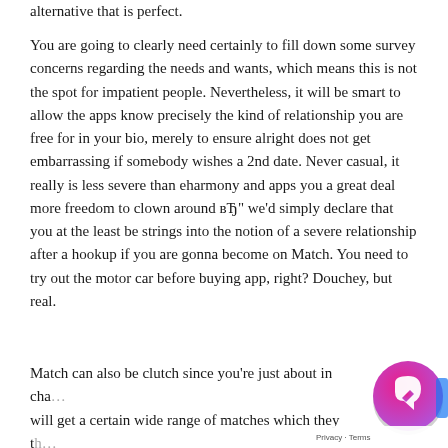alternative that is perfect.
You are going to clearly need certainly to fill down some survey concerns regarding the needs and wants, which means this is not the spot for impatient people. Nevertheless, it will be smart to allow the apps know precisely the kind of relationship you are free for in your bio, merely to ensure alright does not get embarrassing if somebody wishes a 2nd date. Never casual, it really is less severe than eharmony and apps you a great deal more freedom to clown around вЂ" we'd simply declare that you at the least be strings into the notion of a severe relationship after a hookup if you are gonna become on Match. You need to try out the motor car before buying app, right? Douchey, but real.
Match can also be clutch since you're just about in cha… will get a certain wide range of matches which they th… like a day, you also provide free rein within the search c…
[Figure (other): Facebook Messenger chat widget circle button with pink/purple gradient, partially visible in bottom right corner. Privacy - Terms label visible.]